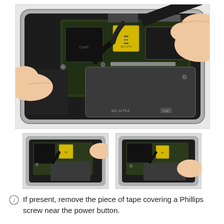[Figure (photo): Close-up photo of iPhone internals being repaired. A hand holds a black spudger tool working on the logic board area near the power button, showing flex cables, a yellow QR-code sticker on a chip, and the board marked 821-1279-A.]
[Figure (photo): Thumbnail photo showing the same iPhone internals from a slightly different angle, closer view of the logic board area with a yellow sticker visible.]
[Figure (photo): Thumbnail photo showing iPhone internals with a hand/tool near the logic board area, slightly different angle from the second thumbnail.]
If present, remove the piece of tape covering a Phillips screw near the power button.